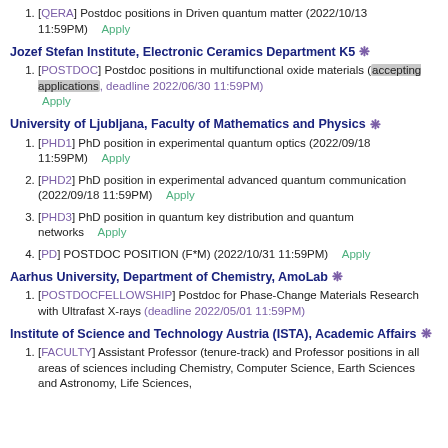[QERA] Postdoc positions in Driven quantum matter (2022/10/13 11:59PM)   Apply
Jozef Stefan Institute, Electronic Ceramics Department K5 ❄
[POSTDOC] Postdoc positions in multifunctional oxide materials (accepting applications, deadline 2022/06/30 11:59PM) Apply
University of Ljubljana, Faculty of Mathematics and Physics ❄
[PHD1] PhD position in experimental quantum optics (2022/09/18 11:59PM)   Apply
[PHD2] PhD position in experimental advanced quantum communication (2022/09/18 11:59PM)   Apply
[PHD3] PhD position in quantum key distribution and quantum networks   Apply
[PD] POSTDOC POSITION (F*M) (2022/10/31 11:59PM)   Apply
Aarhus University, Department of Chemistry, AmoLab ❄
[POSTDOCFELLOWSHIP] Postdoc for Phase-Change Materials Research with Ultrafast X-rays (deadline 2022/05/01 11:59PM)
Institute of Science and Technology Austria (ISTA), Academic Affairs ❄
[FACULTY] Assistant Professor (tenure-track) and Professor positions in all areas of sciences including Chemistry, Computer Science, Earth Sciences and Astronomy, Life Sciences,